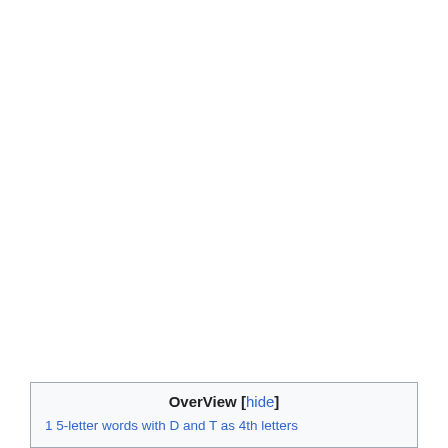OverView [hide]
1 5-letter words with D and T as 4th letters